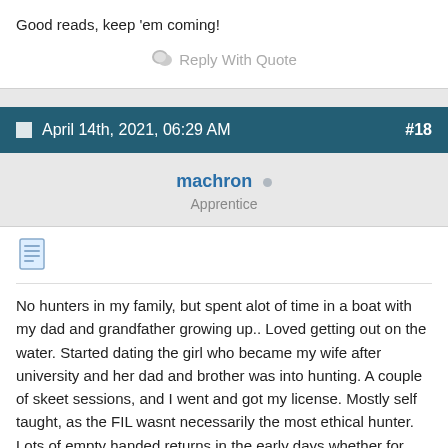Good reads, keep 'em coming!
Reply With Quote
April 14th, 2021, 06:29 AM   #18
machron  Apprentice
No hunters in my family, but spent alot of time in a boat with my dad and grandfather growing up.. Loved getting out on the water. Started dating the girl who became my wife after university and her dad and brother was into hunting. A couple of skeet sessions, and I went and got my license. Mostly self taught, as the FIL wasnt necessarily the most ethical hunter. Lots of empty handed returns in the early days whether for ducks, geese or deer. Went